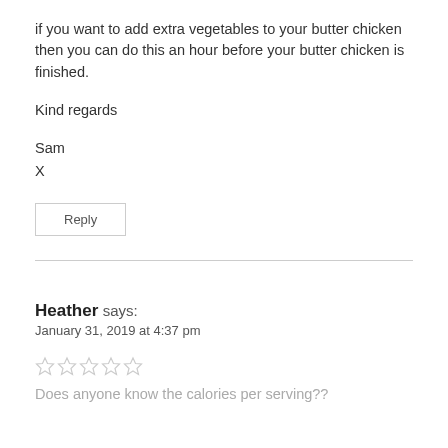if you want to add extra vegetables to your butter chicken then you can do this an hour before your butter chicken is finished.
Kind regards
Sam
X
Reply
Heather says:
January 31, 2019 at 4:37 pm
[Figure (other): Five empty star rating icons]
Does anyone know the calories per serving??